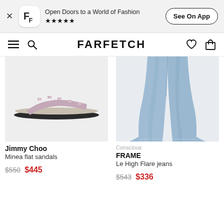Open Doors to a World of Fashion ★★★★★ See On App
FARFETCH
[Figure (photo): Jimmy Choo Minea flat sandals - glitter/crystal embellished slide sandal on light background]
Jimmy Choo
Minea flat sandals
$550 $445
[Figure (photo): FRAME Le High Flare jeans - light blue denim flared jeans legs on light background]
Conscious
FRAME
Le High Flare jeans
$543 $336